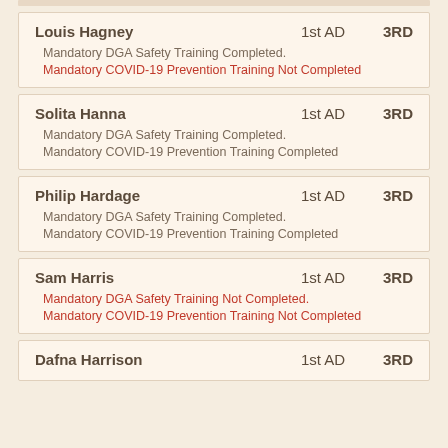Louis Hagney | 1st AD | 3RD | Mandatory DGA Safety Training Completed. | Mandatory COVID-19 Prevention Training Not Completed
Solita Hanna | 1st AD | 3RD | Mandatory DGA Safety Training Completed. | Mandatory COVID-19 Prevention Training Completed
Philip Hardage | 1st AD | 3RD | Mandatory DGA Safety Training Completed. | Mandatory COVID-19 Prevention Training Completed
Sam Harris | 1st AD | 3RD | Mandatory DGA Safety Training Not Completed. | Mandatory COVID-19 Prevention Training Not Completed
Dafna Harrison | 1st AD | 3RD